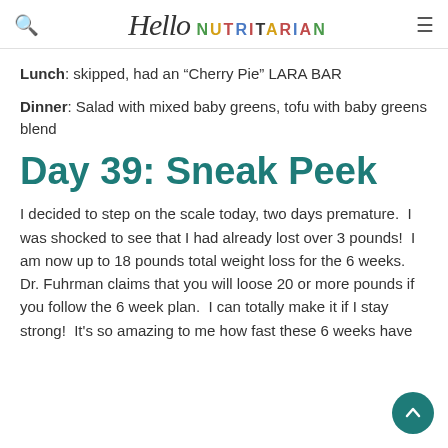Hello NUTRITARIAN
Lunch: skipped, had an "Cherry Pie" LARA BAR
Dinner: Salad with mixed baby greens, tofu with baby greens blend
Day 39: Sneak Peek
I decided to step on the scale today, two days premature.  I was shocked to see that I had already lost over 3 pounds!  I am now up to 18 pounds total weight loss for the 6 weeks.  Dr. Fuhrman claims that you will loose 20 or more pounds if you follow the 6 week plan.  I can totally make it if I stay strong!  It's so amazing to me how fast these 6 weeks have